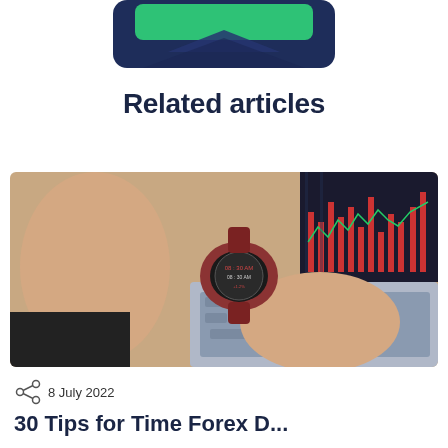[Figure (screenshot): Partial view of a dark navy blue app/widget UI element with a green button at top, showing bottom portion of a mobile or web interface element]
Related articles
[Figure (photo): Person wearing a smartwatch showing 08:30 AM on the display, hands resting near a laptop keyboard with financial charts visible on screen in the background]
8 July 2022
30 Tips for Time Forex D...